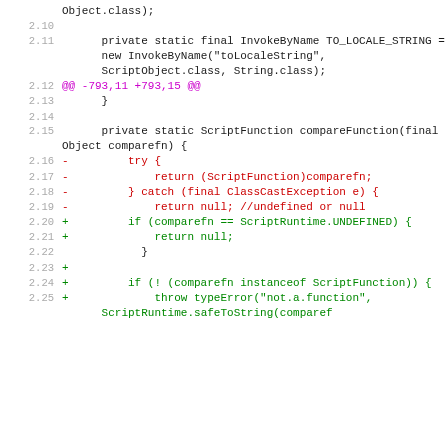Code diff showing lines 2.10-2.25 of a Java source file with removed (red) and added (green) lines, and a hunk header (purple).